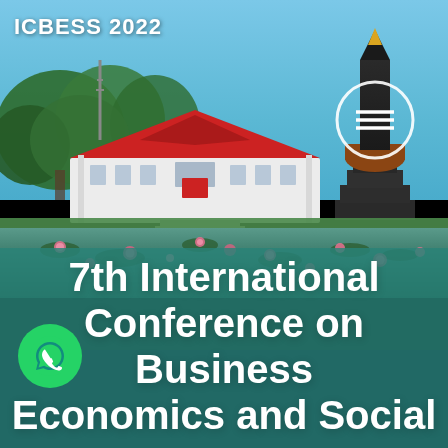ICBESS 2022
[Figure (photo): Photograph of a historic white building with a red tiled roof surrounded by green trees and a pond with pink lotus flowers in the foreground, with a tall black monument/obelisk on the right side, set against a blue sky. The lower half has a teal/green semi-transparent overlay.]
7th International Conference on Business Economics and Social